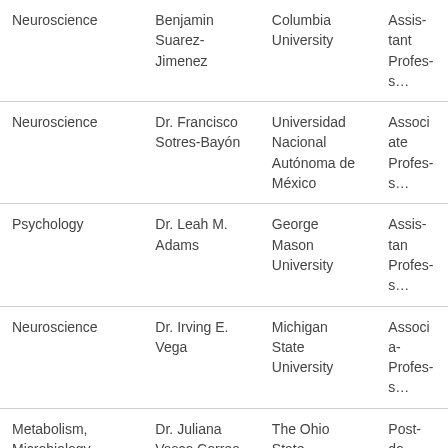| Field | Name | Institution | Role |
| --- | --- | --- | --- |
| Neuroscience | Benjamin Suarez-Jimenez | Columbia University | Assistant Professor |
| Neuroscience | Dr. Francisco Sotres-Bayón | Universidad Nacional Autónoma de México | Associate Professor |
| Psychology | Dr. Leah M. Adams | George Mason University | Assistant Professor |
| Neuroscience | Dr. Irving E. Vega | Michigan State University | Associate Professor |
| Metabolism, Microbiology | Dr. Juliana Vasco Correa | The Ohio State University | Post-doc |